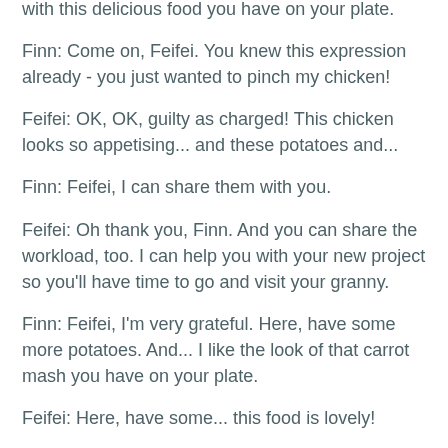with this delicious food you have on your plate.
Finn: Come on, Feifei. You knew this expression already - you just wanted to pinch my chicken!
Feifei: OK, OK, guilty as charged! This chicken looks so appetising... and these potatoes and...
Finn: Feifei, I can share them with you.
Feifei: Oh thank you, Finn. And you can share the workload, too. I can help you with your new project so you'll have time to go and visit your granny.
Finn: Feifei, I'm very grateful. Here, have some more potatoes. And... I like the look of that carrot mash you have on your plate.
Feifei: Here, have some... this food is lovely!